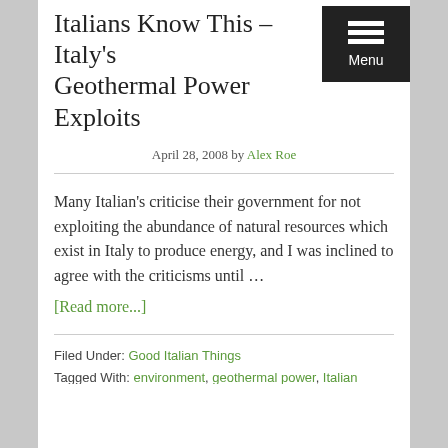Italians Know This – Italy's Geothermal Power Exploits
April 28, 2008 by Alex Roe
Many Italian's criticise their government for not exploiting the abundance of natural resources which exist in Italy to produce energy, and I was inclined to agree with the criticisms until … [Read more...]
Filed Under: Good Italian Things
Tagged With: environment, geothermal power, Italian